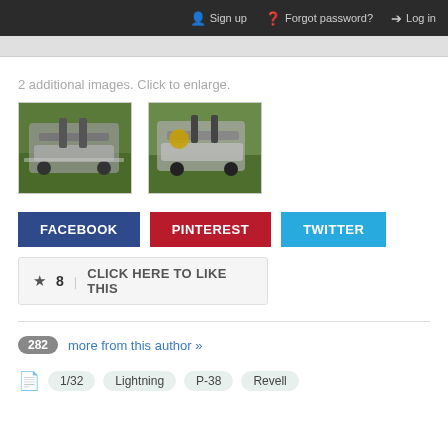Sign up  Forgot password?  Log in
2 additional images. Click to enlarge.
[Figure (photo): Two thumbnail photos of a model aircraft (P-38 Lightning) placed on a green mat, viewed from different angles]
FACEBOOK   PINTEREST   TWITTER
★ 8   CLICK HERE TO LIKE THIS
282 more from this author »
1/32   Lightning   P-38   Revell